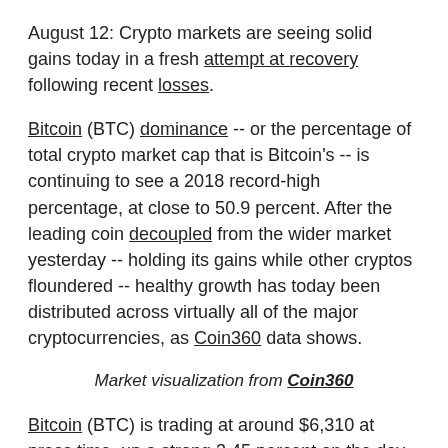August 12: Crypto markets are seeing solid gains today in a fresh attempt at recovery following recent losses.
Bitcoin (BTC) dominance -- or the percentage of total crypto market cap that is Bitcoin's -- is continuing to see a 2018 record-high percentage, at close to 50.9 percent. After the leading coin decoupled from the wider market yesterday -- holding its gains while other cryptos floundered -- healthy growth has today been distributed across virtually all of the major cryptocurrencies, as Coin360 data shows.
Market visualization from Coin360
Bitcoin (BTC) is trading at around $6,310 at press time, up a strong 3.45 percent on the day,